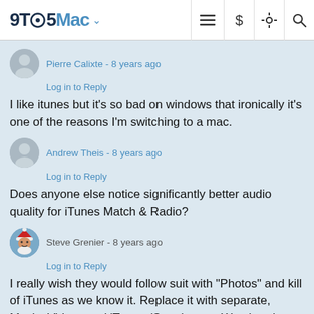9TO5Mac
Pierre Calixte - 8 years ago
Log in to Reply
I like itunes but it's so bad on windows that ironically it's one of the reasons I'm switching to a mac.
Andrew Theis - 8 years ago
Log in to Reply
Does anyone else notice significantly better audio quality for iTunes Match & Radio?
Steve Grenier - 8 years ago
Log in to Reply
I really wish they would follow suit with "Photos" and kill of iTunes as we know it. Replace it with separate, Music, Videos and iTunes (Store) apps. We already have App